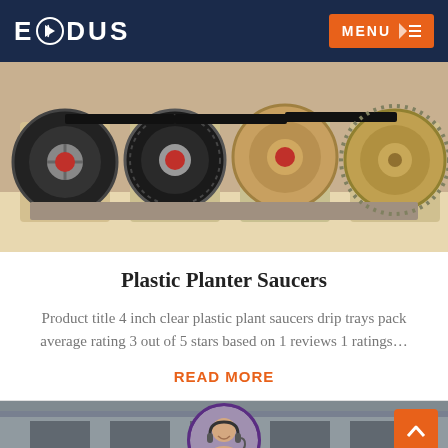EXODUS  MENU
[Figure (photo): Industrial machinery with large black rubber belt wheels/pulleys and mechanical components in a factory setting]
Plastic Planter Saucers
Product title 4 inch clear plastic plant saucers drip trays pack average rating 3 out of 5 stars based on 1 reviews 1 ratings…
READ MORE
[Figure (photo): Industrial building exterior with a customer service representative avatar circle and bottom bar with Leave Message and Chat Online links]